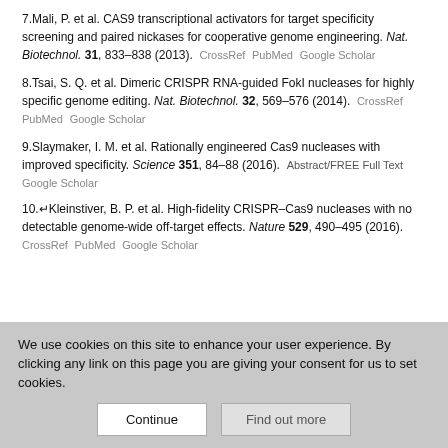7. Mali, P. et al. CAS9 transcriptional activators for target specificity screening and paired nickases for cooperative genome engineering. Nat. Biotechnol. 31, 833–838 (2013). CrossRef PubMed Google Scholar
8. Tsai, S. Q. et al. Dimeric CRISPR RNA-guided FokI nucleases for highly specific genome editing. Nat. Biotechnol. 32, 569–576 (2014). CrossRef PubMed Google Scholar
9. Slaymaker, I. M. et al. Rationally engineered Cas9 nucleases with improved specificity. Science 351, 84–88 (2016). Abstract/FREE Full Text Google Scholar
10. ↵ Kleinstiver, B. P. et al. High-fidelity CRISPR–Cas9 nucleases with no detectable genome-wide off-target effects. Nature 529, 490–495 (2016). CrossRef PubMed Google Scholar
We use cookies on this site to enhance your user experience. By clicking any link on this page you are giving your consent for us to set cookies.